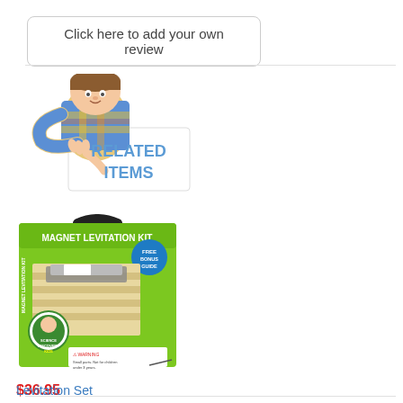Click here to add your own review
[Figure (illustration): A child leaning over a white sign with 'RELATED ITEMS' text in blue]
[Figure (photo): Magnet Levitation Kit product box, green colored packaging with a Science Discovery Kids logo]
$36.95
Levitation Set